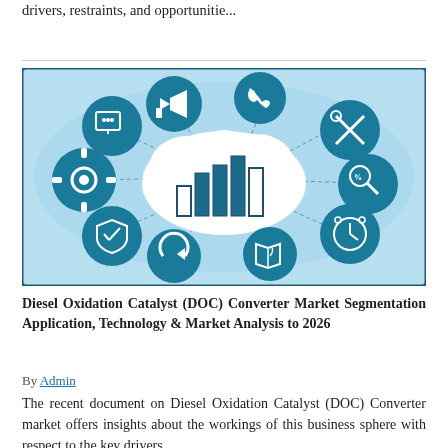drivers, restraints, and opportunitie...
[Figure (infographic): Market research infographic showing a cloud with bar chart in center surrounded by teal circles with icons: monitor/chat, megaphone, phone, wrench/screwdriver, gear, percentage/magnifier, shield, refresh, map/location, alarm clock, on a light blue world map background.]
Diesel Oxidation Catalyst (DOC) Converter Market Segmentation Application, Technology & Market Analysis to 2026
By Admin
The recent document on Diesel Oxidation Catalyst (DOC) Converter market offers insights about the workings of this business sphere with respect to the key drivers,